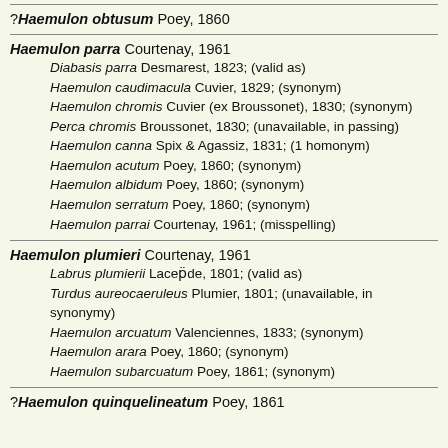?Haemulon obtusum Poey, 1860
Haemulon parra Courtenay, 1961
  Diabasis parra Desmarest, 1823; (valid as)
  Haemulon caudimacula Cuvier, 1829; (synonym)
  Haemulon chromis Cuvier (ex Broussonet), 1830; (synonym)
  Perca chromis Broussonet, 1830; (unavailable, in passing)
  Haemulon canna Spix & Agassiz, 1831; (1 homonym)
  Haemulon acutum Poey, 1860; (synonym)
  Haemulon albidum Poey, 1860; (synonym)
  Haemulon serratum Poey, 1860; (synonym)
  Haemulon parrai Courtenay, 1961; (misspelling)
Haemulon plumieri Courtenay, 1961
  Labrus plumierii Lacepede, 1801; (valid as)
  Turdus aureocaeruleus Plumier, 1801; (unavailable, in synonymy)
  Haemulon arcuatum Valenciennes, 1833; (synonym)
  Haemulon arara Poey, 1860; (synonym)
  Haemulon subarcuatum Poey, 1861; (synonym)
?Haemulon quinquelineatum Poey, 1861